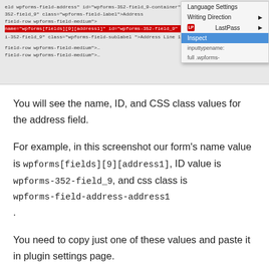[Figure (screenshot): Browser developer tools context menu showing HTML source with a highlighted input element row. Context menu options include Language Settings, Writing Direction, LastPass, and Inspect (highlighted in blue).]
You will see the name, ID, and CSS class values for the address field.
For example, in this screenshot our form's name value is wpforms[fields][9][address1], ID value is wpforms-352-field_9, and css class is wpforms-field-address-address1.
You need to copy just one of these values and paste it in plugin settings page.
If you want to target multiple fields in multiple forms, then you can just add a comma and add another value.